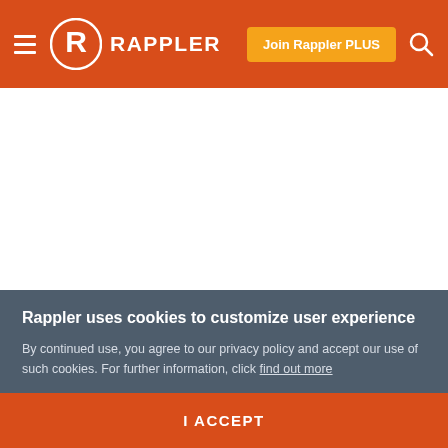Rappler
PRAYERS FOR MARY JANE. Hoping Mary Jane will be saved from the death penalty, she was the subject of rallying prayers across the nation.
Rappler uses cookies to customize user experience
By continued use, you agree to our privacy policy and accept our use of such cookies. For further information, click find out more
I ACCEPT